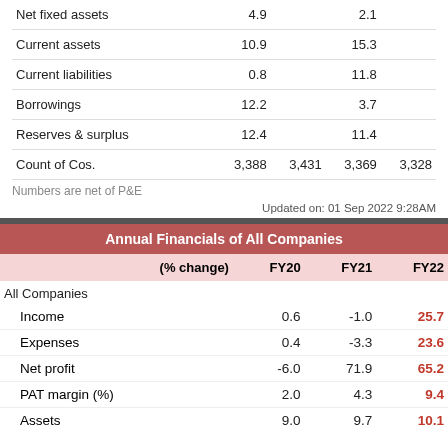|  | Col1 | Col2 | Col3 | Col4 |
| --- | --- | --- | --- | --- |
| Net fixed assets | 4.9 |  | 2.1 |  |
| Current assets | 10.9 |  | 15.3 |  |
| Current liabilities | 0.8 |  | 11.8 |  |
| Borrowings | 12.2 |  | 3.7 |  |
| Reserves & surplus | 12.4 |  | 11.4 |  |
| Count of Cos. | 3,388 | 3,431 | 3,369 | 3,328 |
Numbers are net of P&E
Updated on: 01 Sep 2022 9:28AM
| Annual Financials of All Companies |  |  |  |
| --- | --- | --- | --- |
| (% change) | FY20 | FY21 | FY22 |
| All Companies |  |  |  |
| Income | 0.6 | -1.0 | 25.7 |
| Expenses | 0.4 | -3.3 | 23.6 |
| Net profit | -6.0 | 71.9 | 65.2 |
| PAT margin (%) | 2.0 | 4.3 | 9.4 |
| Assets | 9.0 | 9.7 | 10.1 |